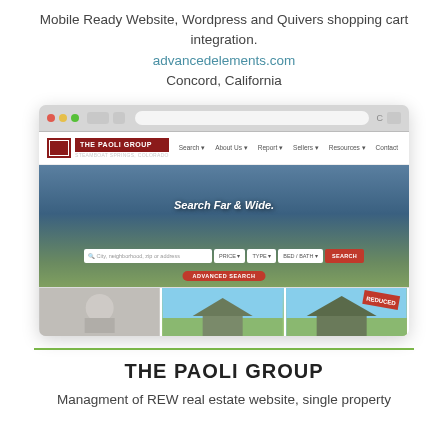Mobile Ready Website, Wordpress and Quivers shopping cart integration.
advancedelements.com
Concord, California
[Figure (screenshot): Screenshot of The Paoli Group real estate website showing browser chrome, site header with logo and navigation, a hero image of a mountain-view property with 'Search Far & Wide.' text, property search bar with Price, Type, Beds/Baths dropdowns and Search button, Advanced Search button, and thumbnail row of three property photos below.]
THE PAOLI GROUP
Managment of REW real estate website, single property